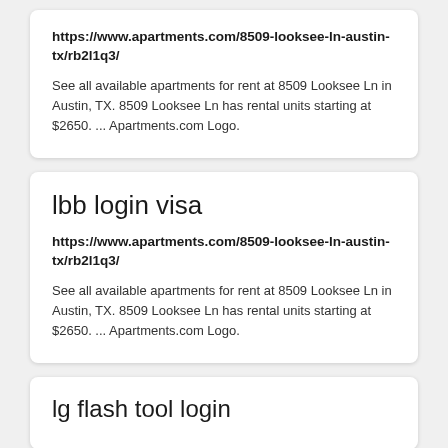https://www.apartments.com/8509-looksee-ln-austin-tx/rb2l1q3/
See all available apartments for rent at 8509 Looksee Ln in Austin, TX. 8509 Looksee Ln has rental units starting at $2650. ... Apartments.com Logo.
lbb login visa
https://www.apartments.com/8509-looksee-ln-austin-tx/rb2l1q3/
See all available apartments for rent at 8509 Looksee Ln in Austin, TX. 8509 Looksee Ln has rental units starting at $2650. ... Apartments.com Logo.
lg flash tool login